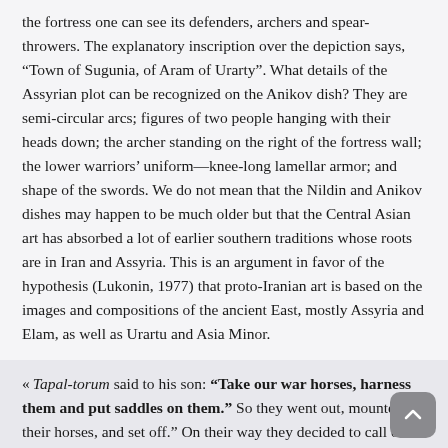the fortress one can see its defenders, archers and spear-throwers. The explanatory inscription over the depiction says, “Town of Sugunia, of Aram of Urarty”. What details of the Assyrian plot can be recognized on the Anikov dish? They are semi-circular arcs; figures of two people hanging with their heads down; the archer standing on the right of the fortress wall; the lower warriors’ uniform—knee-long lamellar armor; and shape of the swords. We do not mean that the Nildin and Anikov dishes may happen to be much older but that the Central Asian art has absorbed a lot of earlier southern traditions whose roots are in Iran and Assyria. This is an argument in favor of the hypothesis (Lukonin, 1977) that proto-Iranian art is based on the images and compositions of the ancient East, mostly Assyria and Elam, as well as Urartu and Asia Minor.
« Tapal-torum said to his son: “Take our war horses, harness them and put saddles on them.” So they went out, mounted their horses, and set off.” On their way they decided to call on Mir-sugno-khum and ask him to go...